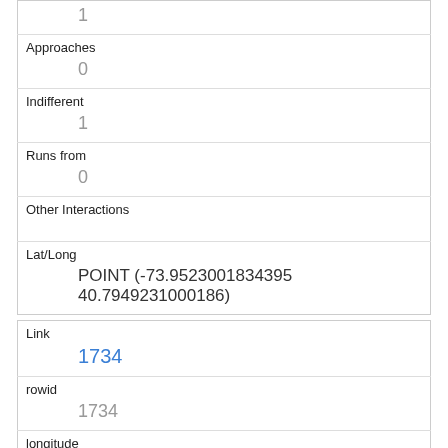| 1 |
| Approaches | 0 |
| Indifferent | 1 |
| Runs from | 0 |
| Other Interactions |  |
| Lat/Long | POINT (-73.9523001834395 40.7949231000186) |
| Link | 1734 |
| rowid | 1734 |
| longitude | -73.9524132295658 |
| latitude | 40.7933777553406 |